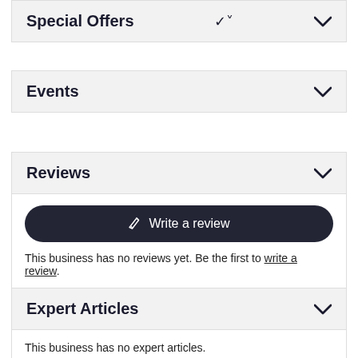Special Offers
Events
Reviews
Write a review
This business has no reviews yet. Be the first to write a review.
Expert Articles
This business has no expert articles.